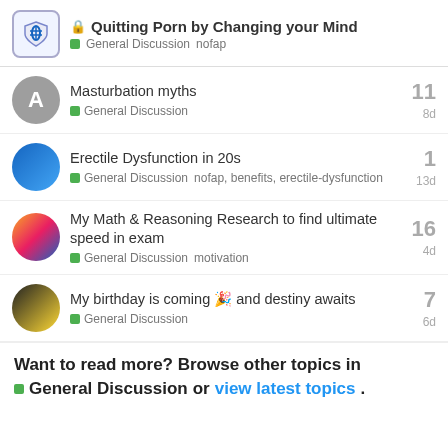Quitting Porn by Changing your Mind — General Discussion  nofap
Masturbation myths — General Discussion — 11 — 8d
Erectile Dysfunction in 20s — General Discussion  nofap, benefits, erectile-dysfunction — 1 — 13d
My Math & Reasoning Research to find ultimate speed in exam — General Discussion  motivation — 16 — 4d
My birthday is coming 🎉 and destiny awaits — General Discussion — 7 — 6d
Want to read more? Browse other topics in General Discussion or view latest topics.